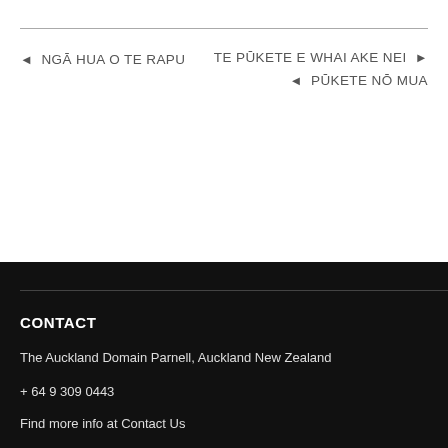◄ NGĀ HUA O TE RAPU
TE PŪKETE E WHAI AKE NEI ►
◄ PŪKETE NŌ MUA
CONTACT
The Auckland Domain Parnell, Auckland New Zealand
+ 64 9 309 0443
Find more info at Contact Us